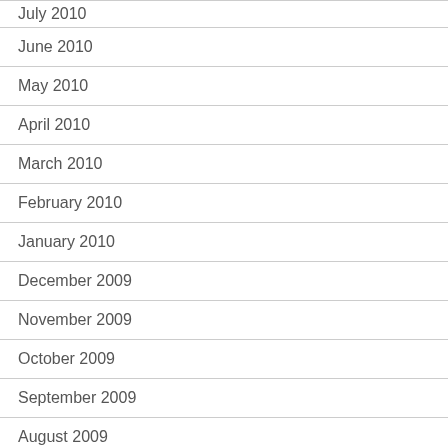July 2010
June 2010
May 2010
April 2010
March 2010
February 2010
January 2010
December 2009
November 2009
October 2009
September 2009
August 2009
July 2009